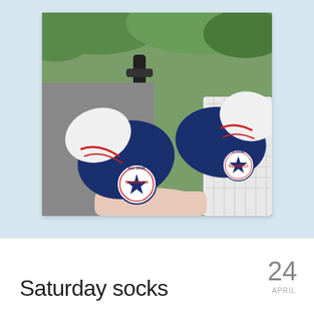[Figure (photo): Close-up photo of a baby's feet wearing Converse All Star style socks (navy blue and white with red stripe and Converse logo patch), sitting in a pram/stroller. Green foliage visible in background.]
Saturday socks
24